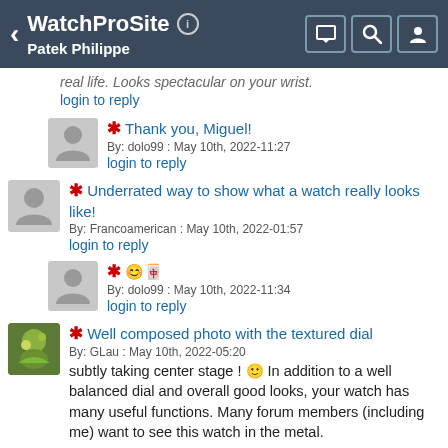WatchProSite  Patek Philippe
real life. Looks spectacular on your wrist.
login to reply
★ Thank you, Miguel!
By: dolo99 : May 10th, 2022-11:27
login to reply
★ Underrated way to show what a watch really looks like!
By: Francoamerican : May 10th, 2022-01:57
login to reply
★ 😊🀄
By: dolo99 : May 10th, 2022-11:34
login to reply
★ Well composed photo with the textured dial
By: GLau : May 10th, 2022-05:20
subtly taking center stage ! 🙂 In addition to a well balanced dial and overall good looks, your watch has many useful functions. Many forum members (including me) want to see this watch in the metal.